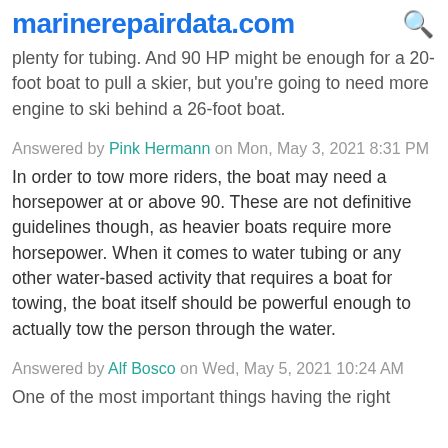marinerepairdata.com
plenty for tubing. And 90 HP might be enough for a 20-foot boat to pull a skier, but you're going to need more engine to ski behind a 26-foot boat.
Answered by Pink Hermann on Mon, May 3, 2021 8:31 PM
In order to tow more riders, the boat may need a horsepower at or above 90. These are not definitive guidelines though, as heavier boats require more horsepower. When it comes to water tubing or any other water-based activity that requires a boat for towing, the boat itself should be powerful enough to actually tow the person through the water.
Answered by Alf Bosco on Wed, May 5, 2021 10:24 AM
One of the most important things having the right...